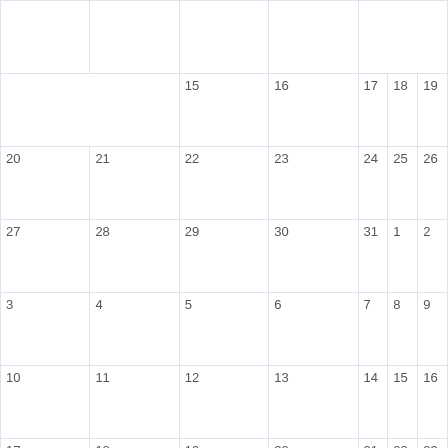|  |  |  |  | $294 |  |  |
| 13 | 14 | 15 | 16 | 17 | 18 | 19 |
| $294 (13-14) |  | 15 | 16 | 17 | 18 | 19 |
| 20 | 21 | 22 | 23 | 24 | 25 | 26 |
| 27 | 28 | 29 | 30 | 31 | 1 | 2 |
| 3 | 4 | 5 | 6 | 7 | 8 | 9 |
| 10 | 11 | 12 | 13 | 14 | 15 | 16 |
| 17 | 18 | 19 | 20 | 21 | 22 | 23 |